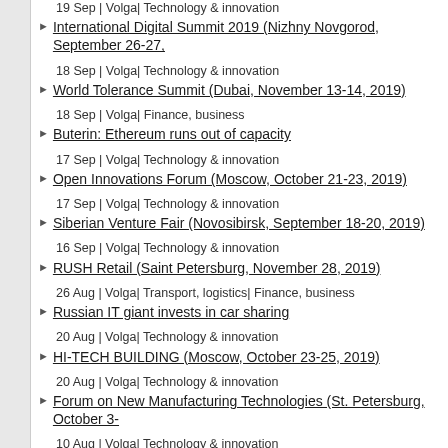19 Sep | Volga| Technology & innovation
International Digital Summit 2019 (Nizhny Novgorod, September 26-27,
18 Sep | Volga| Technology & innovation
World Tolerance Summit (Dubai, November 13-14, 2019)
18 Sep | Volga| Finance, business
Buterin: Ethereum runs out of capacity
17 Sep | Volga| Technology & innovation
Open Innovations Forum (Moscow, October 21-23, 2019)
17 Sep | Volga| Technology & innovation
Siberian Venture Fair (Novosibirsk, September 18-20, 2019)
16 Sep | Volga| Technology & innovation
RUSH Retail (Saint Petersburg, November 28, 2019)
26 Aug | Volga| Transport, logistics| Finance, business
Russian IT giant invests in car sharing
20 Aug | Volga| Technology & innovation
HI-TECH BUILDING (Moscow, October 23-25, 2019)
20 Aug | Volga| Technology & innovation
Forum on New Manufacturing Technologies (St. Petersburg, October 3-
10 Aug | Volga| Technology & innovation